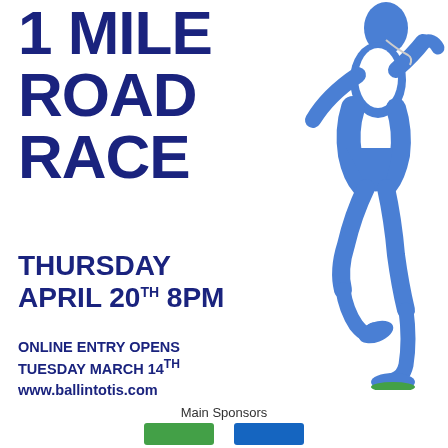1 MILE ROAD RACE
[Figure (illustration): Blue silhouette of a running person, mid-stride, wearing shorts and a singlet with earphones]
THURSDAY APRIL 20TH 8PM
ONLINE ENTRY OPENS TUESDAY MARCH 14TH www.ballintotis.com
Main Sponsors